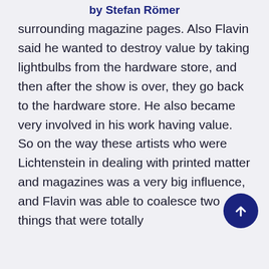by Stefan Römer
surrounding magazine pages. Also Flavin said he wanted to destroy value by taking lightbulbs from the hardware store, and then after the show is over, they go back to the hardware store. He also became very involved in his work having value. So on the way these artists who were Lichtenstein in dealing with printed matter and magazines was a very big influence, and Flavin was able to coalesce two things that were totally